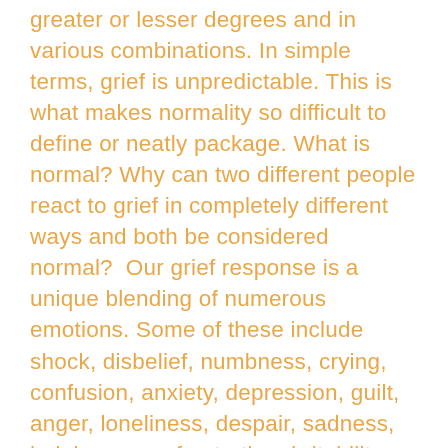greater or lesser degrees and in various combinations. In simple terms, grief is unpredictable. This is what makes normality so difficult to define or neatly package. What is normal? Why can two different people react to grief in completely different ways and both be considered normal?  Our grief response is a unique blending of numerous emotions. Some of these include shock, disbelief, numbness, crying, confusion, anxiety, depression, guilt, anger, loneliness, despair, sadness, helplessness, frustration, irritability, resentment, fatigue, sleep disruptions, physical symptoms, and lowered self-esteem. All these emotions are normal. People in grief, not understanding this emotional explosion they may be experiencing often think they are going crazy. They aren't! They are normal. They may need some help to work through all their feelings, but that's OK. You may not be a doctor or a psychologist, but if you can help